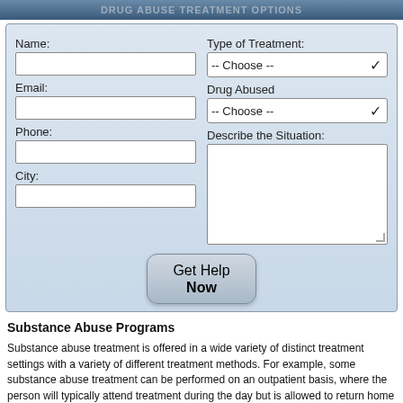Drug Abuse Treatment Options
[Figure (screenshot): Web form for drug abuse treatment with fields: Name, Email, Phone, City, Type of Treatment (dropdown), Drug Abused (dropdown), Describe the Situation (textarea), and Get Help Now button]
Substance Abuse Programs
Substance abuse treatment is offered in a wide variety of distinct treatment settings with a variety of different treatment methods. For example, some substance abuse treatment can be performed on an outpatient basis, where the person will typically attend treatment during the day but is allowed to return home daily. Other substance abuse treatment requires the individual to stay in a hospital or residential facility during the entire course of treatment, which is especially helpful in resolving more serious cases of addiction. Inpatient and residential substance abuse treatment can be done on a short term or long term basis, depending on unique circumstances which can be different for each person. Additional treatment options will focus on the...